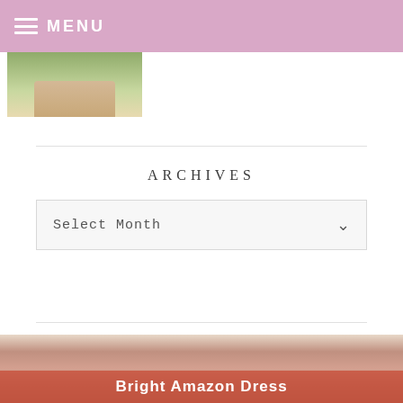MENU
[Figure (photo): Partial photo of a person's legs and feet standing on a path outdoors]
ARCHIVES
Select Month
[Figure (photo): Photo of a woman outdoors holding a sign that reads 'Bright Amazon Dress']